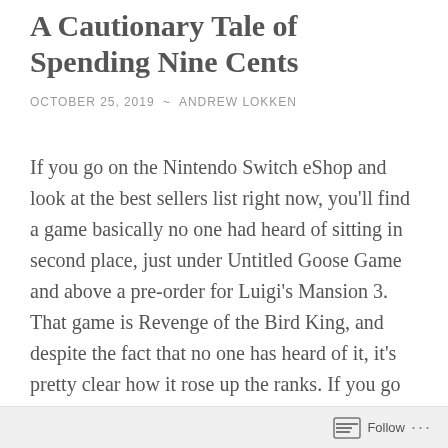A Cautionary Tale of Spending Nine Cents
OCTOBER 25, 2019  ~  ANDREW LOKKEN
If you go on the Nintendo Switch eShop and look at the best sellers list right now, you'll find a game basically no one had heard of sitting in second place, just under Untitled Goose Game and above a pre-order for Luigi's Mansion 3. That game is Revenge of the Bird King, and despite the fact that no one has heard of it, it's pretty clear how it rose up the ranks. If you go to the great deals section of the eShop, you'll see that the game is currently only nine cents. Surely, a lot of people bought the game for that reason alone right? Hell, I know I did, and I used Gold Coins instead of spending real money. So now a lot of
Follow